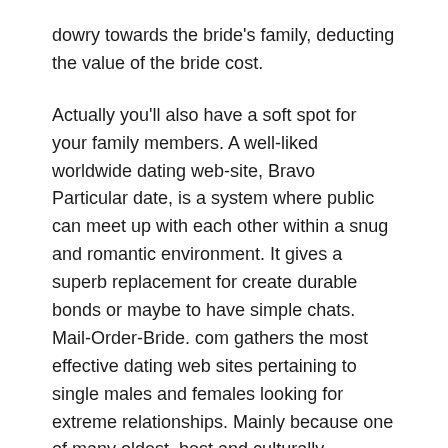dowry towards the bride's family, deducting the value of the bride cost.
Actually you'll also have a soft spot for your family members. A well-liked worldwide dating web-site, Bravo Particular date, is a system where public can meet up with each other within a snug and romantic environment. It gives a superb replacement for create durable bonds or maybe to have simple chats. Mail-Order-Bride. com gathers the most effective dating web sites pertaining to single males and females looking for extreme relationships. Mainly because one of many oldest, best and culturally developed nations around the world in Europe, Italy requires no intro to probiotics benefits.
What Ethnical Peculiarities Generate Italian Females Interesting?